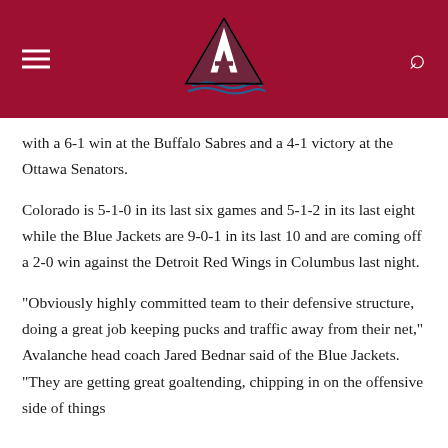Colorado Avalanche
with a 6-1 win at the Buffalo Sabres and a 4-1 victory at the Ottawa Senators.
Colorado is 5-1-0 in its last six games and 5-1-2 in its last eight while the Blue Jackets are 9-0-1 in its last 10 and are coming off a 2-0 win against the Detroit Red Wings in Columbus last night.
"Obviously highly committed team to their defensive structure, doing a great job keeping pucks and traffic away from their net," Avalanche head coach Jared Bednar said of the Blue Jackets. "They are getting great goaltending, chipping in on the offensive side of things and they are the better team in the NHL right now..."